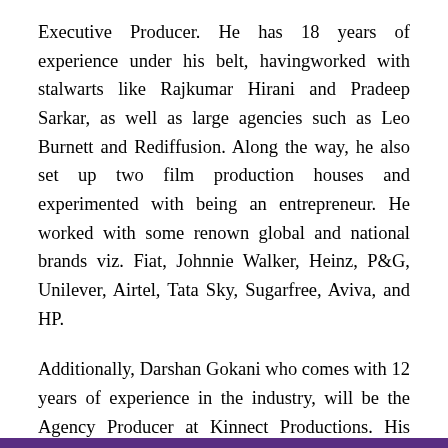Executive Producer. He has 18 years of experience under his belt, havingworked with stalwarts like Rajkumar Hirani and Pradeep Sarkar, as well as large agencies such as Leo Burnett and Rediffusion. Along the way, he also set up two film production houses and experimented with being an entrepreneur. He worked with some renown global and national brands viz. Fiat, Johnnie Walker, Heinz, P&G, Unilever, Airtel, Tata Sky, Sugarfree, Aviva, and HP.
Additionally, Darshan Gokani who comes with 12 years of experience in the industry, will be the Agency Producer at Kinnect Productions. His versatility ranges from producing, directing to acting for more than a decade now for major brands, directors and production houses. Darshan has worked on brands like Hero (Hum Mein Hai Hero), Amazon (Aur Dikhao) Pensi Fair &